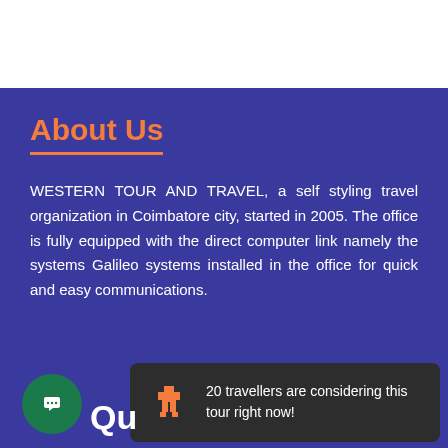About Us
WESTERN TOUR AND TRAVEL, a self styling travel organization in Coimbatore city, started in 2005. The office is fully equipped with the direct computer link namely the systems Galileo systems installed in the office for quick and easy communications.
20 travellers are considering this tour right now!